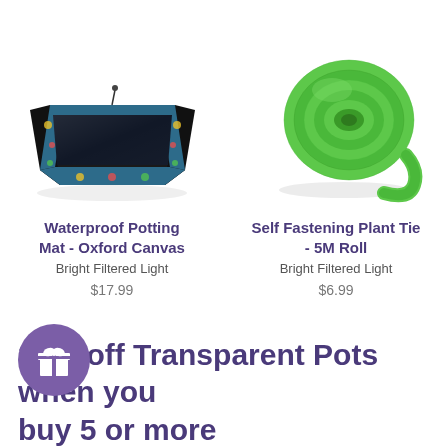[Figure (photo): Black fabric waterproof potting mat with decorative floral trim, folded open view]
[Figure (photo): Green self-fastening plant tie rolled up into a coil, 5M roll]
Waterproof Potting Mat - Oxford Canvas
Bright Filtered Light
$17.99
Self Fastening Plant Tie - 5M Roll
Bright Filtered Light
$6.99
[Figure (illustration): Purple circle with gift/present icon]
20% off Transparent Pots when you buy 5 or more